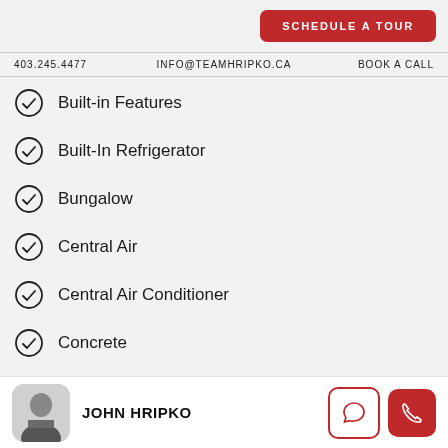SCHEDULE A TOUR
403.245.4477   INFO@TEAMHRIPKO.CA   BOOK A CALL
Built-in Features
Built-In Refrigerator
Bungalow
Central Air
Central Air Conditioner
Concrete
Courtyard
JOHN HRIPKO